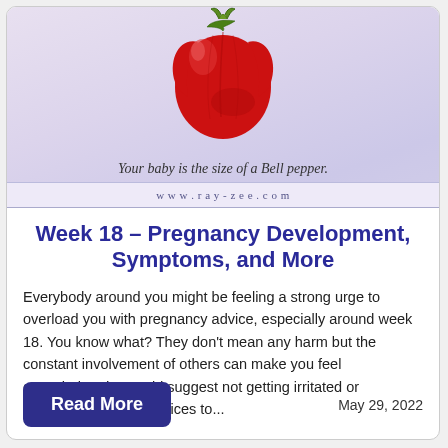[Figure (illustration): Illustration of a red bell pepper on a purple/lavender gradient background, representing baby size at week 18 of pregnancy]
Your baby is the size of a Bell pepper.
Week 18 – Pregnancy Development, Symptoms, and More
Everybody around you might be feeling a strong urge to overload you with pregnancy advice, especially around week 18. You know what? They don't mean any harm but the constant involvement of others can make you feel overwhelmed. I would suggest not getting irritated or explaining your life choices to...
Read More
May 29, 2022